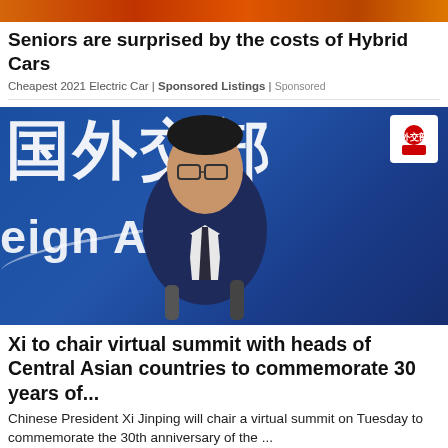[Figure (photo): Partial top strip of image showing orange/red vehicle or scene]
Seniors are surprised by the costs of Hybrid Cars
Cheapest 2021 Electric Car | Sponsored Listings | Sponsored
[Figure (photo): Chinese Ministry of Foreign Affairs spokesperson standing at podium in front of blue background with Chinese characters and 'Foreign Affairs' text, with two microphones]
Xi to chair virtual summit with heads of Central Asian countries to commemorate 30 years of...
Chinese President Xi Jinping will chair a virtual summit on Tuesday to commemorate the 30th anniversary of the ...